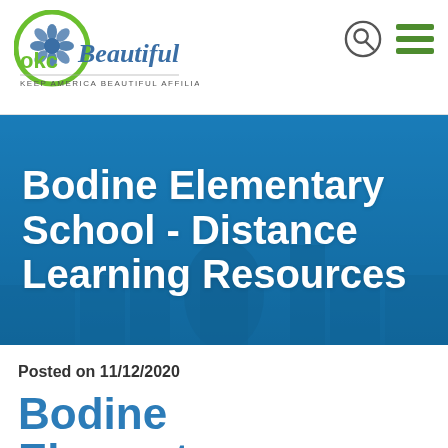[Figure (logo): OKC Beautiful logo — green circular emblem with blue flower, text 'Beautiful' in blue script, tagline 'KEEP AMERICA BEAUTIFUL AFFILIATE']
[Figure (photo): Blue-toned banner with city skyline silhouette and bold white text: Bodine Elementary School - Distance Learning Resources]
Bodine Elementary School - Distance Learning Resources
Posted on 11/12/2020
Bodine Elementary